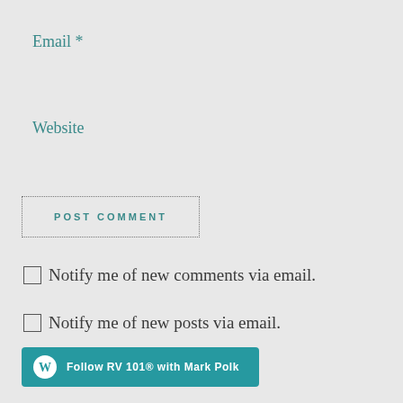Email *
Website
POST COMMENT
Notify me of new comments via email.
Notify me of new posts via email.
Follow RV 101® with Mark Polk